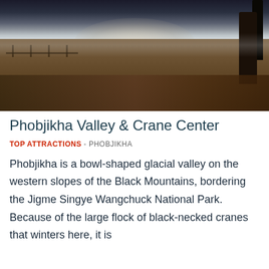[Figure (photo): Panoramic landscape photo of Phobjikha Valley showing a bowl-shaped glacial valley with golden-brown moorland vegetation in the foreground, misty atmospheric light in the background, dark dramatic sky with clouds, and a tall tree on the right side.]
Phobjikha Valley & Crane Center
TOP ATTRACTIONS - PHOBJIKHA
Phobjikha is a bowl-shaped glacial valley on the western slopes of the Black Mountains, bordering the Jigme Singye Wangchuck National Park. Because of the large flock of black-necked cranes that winters here, it is